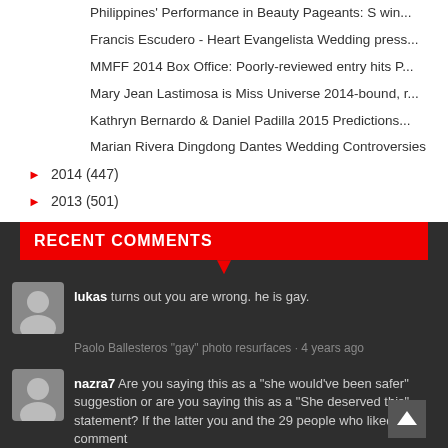Philippines' Performance in Beauty Pageants: S win...
Francis Escudero - Heart Evangelista Wedding press...
MMFF 2014 Box Office: Poorly-reviewed entry hits P...
Mary Jean Lastimosa is Miss Universe 2014-bound, r...
Kathryn Bernardo & Daniel Padilla 2015 Predictions...
Marian Rivera Dingdong Dantes Wedding Controversies
► 2014 (447)
► 2013 (501)
► 2012 (633)
► 2011 (837)
► 2010 (1401)
► 2009 (874)
► 2008 (648)
► 2007 (1267)
RECENT COMMENTS
lukas turns out you are wrong. he is gay.
Paolo Ballesteros "gay" photo resurfaces · 4 years ago
nazra7 Are you saying this as a "she would've been safer" suggestion or are you saying this as a "She deserved this" statement? If the latter you and the 29 people who liked your comment